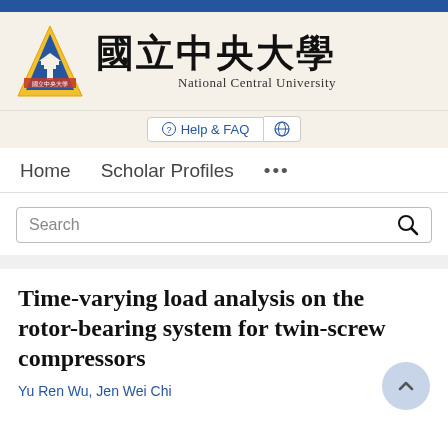[Figure (logo): National Central University logo: blue triangle with yellow/red border containing a building illustration and Chinese text, next to large Chinese characters 國立中央大學 and English text National Central University]
Help & FAQ
Home   Scholar Profiles   ...
Search
Time-varying load analysis on the rotor-bearing system for twin-screw compressors
Yu Ren Wu, Jen Wei Chi